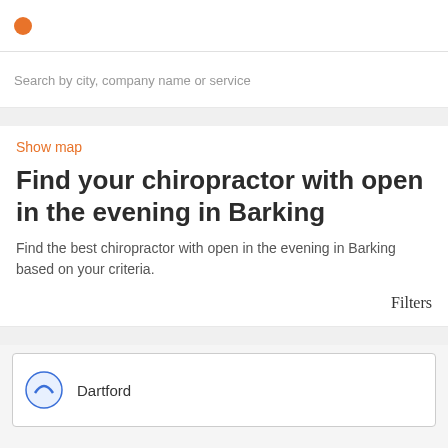Search by city, company name or service
Show map
Find your chiropractor with open in the evening in Barking
Find the best chiropractor with open in the evening in Barking based on your criteria.
Filters
Dartford